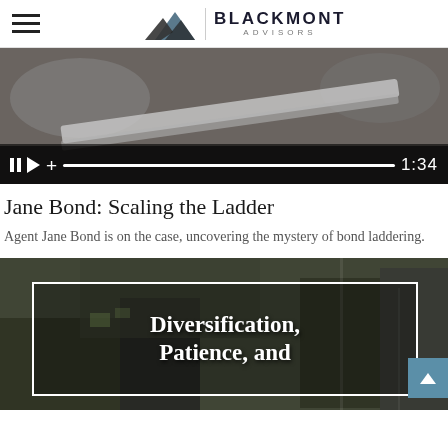Blackmont Advisors
[Figure (screenshot): Video player showing hands, with playback controls (pause, play, plus buttons), a progress bar, and timestamp 1:34]
Jane Bond: Scaling the Ladder
Agent Jane Bond is on the case, uncovering the mystery of bond laddering.
[Figure (screenshot): Second video thumbnail with dark background image and white-bordered overlay text reading 'Diversification, Patience, and']